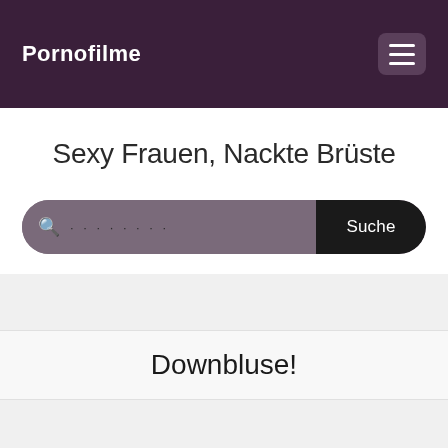Pornofilme
Sexy Frauen, Nackte Brüste
[Figure (screenshot): Search bar with magnifying glass icon, dotted placeholder text, and 'Suche' button on the right]
Downbluse!